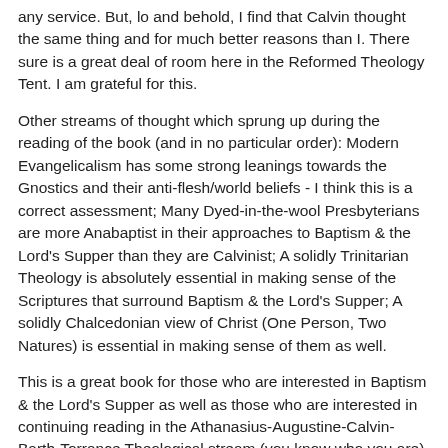any service. But, lo and behold, I find that Calvin thought the same thing and for much better reasons than I. There sure is a great deal of room here in the Reformed Theology Tent. I am grateful for this.
Other streams of thought which sprung up during the reading of the book (and in no particular order): Modern Evangelicalism has some strong leanings towards the Gnostics and their anti-flesh/world beliefs - I think this is a correct assessment; Many Dyed-in-the-wool Presbyterians are more Anabaptist in their approaches to Baptism & the Lord's Supper than they are Calvinist; A solidly Trinitarian Theology is absolutely essential in making sense of the Scriptures that surround Baptism & the Lord's Supper; A solidly Chalcedonian view of Christ (One Person, Two Natures) is essential in making sense of them as well.
This is a great book for those who are interested in Baptism & the Lord's Supper as well as those who are interested in continuing reading in the Athanasius-Augustine-Calvin-Barth-Torrance Theological stream (you know who you are).